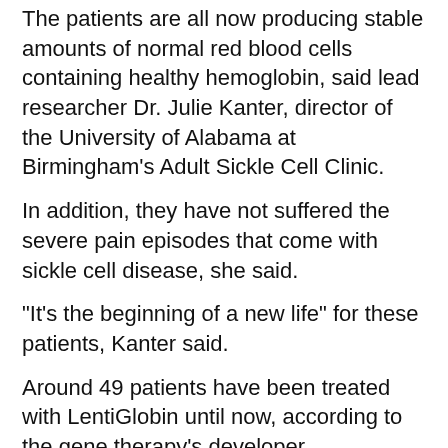The patients are all now producing stable amounts of normal red blood cells containing healthy hemoglobin, said lead researcher Dr. Julie Kanter, director of the University of Alabama at Birmingham's Adult Sickle Cell Clinic.
In addition, they have not suffered the severe pain episodes that come with sickle cell disease, she said.
"It's the beginning of a new life" for these patients, Kanter said.
Around 49 patients have been treated with LentiGlobin until now, according to the gene therapy's developer, pharmaceutical company Bluebird Bio.
Sickle cell disease affects the shape of a person's red blood cells. Normally, these cells are disc-shaped and flexible enough to move easily through blood vessels.
The red blood cells of a person with sickle cell disease are crescent-shaped, resembling a sickle. The cells are